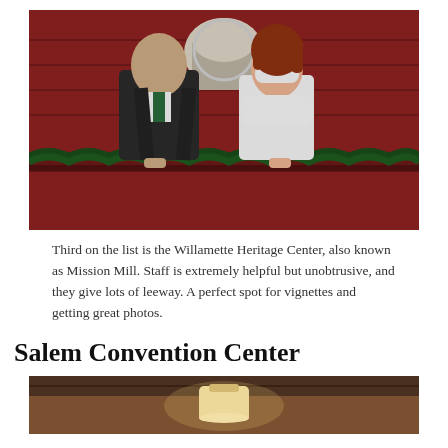[Figure (photo): Wedding couple standing on a red barn balcony decorated with evergreen garland. The groom wears a dark suit with green tie and boutonniere; the bride wears a white lace dress with white fur wrap and a tiara. Background is a red building with a white arch window.]
Third on the list is the Willamette Heritage Center, also known as Mission Mill. Staff is extremely helpful but unobtrusive, and they give lots of leeway. A perfect spot for vignettes and getting great photos.
Salem Convention Center
[Figure (photo): Partial view of the Salem Convention Center interior, showing warm wooden tones and a lamp or light fixture in the center.]